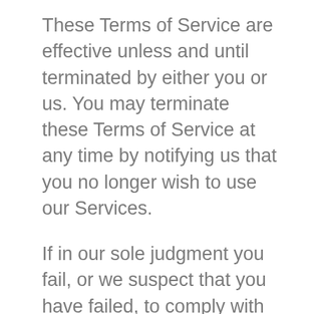These Terms of Service are effective unless and until terminated by either you or us. You may terminate these Terms of Service at any time by notifying us that you no longer wish to use our Services.
If in our sole judgment you fail, or we suspect that you have failed, to comply with any term or provision of these Terms of Service, we also may terminate this agreement at any time without notice and you will remain liable for all amounts due up to and including the date of termination; and/or accordingly may deny you access to